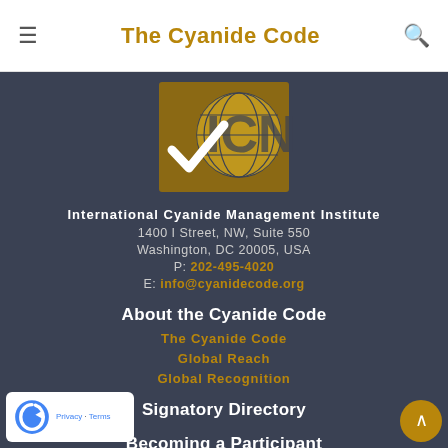The Cyanide Code
[Figure (logo): International Cyanide Management Institute logo - gold checkmark and globe with ICN letters on dark background]
International Cyanide Management Institute
1400 I Street, NW, Suite 550
Washington, DC 20005, USA
P: 202-495-4020
E: info@cyanidecode.org
About the Cyanide Code
The Cyanide Code
Global Reach
Global Recognition
Signatory Directory
Becoming a Participant
Becoming a Signatory